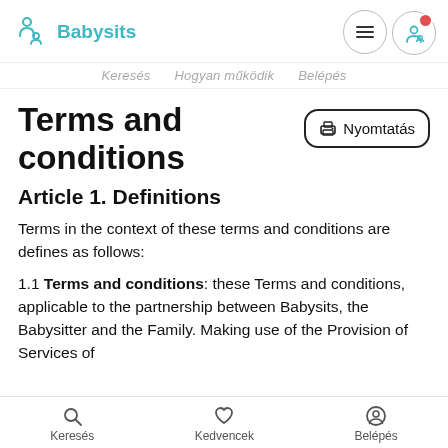Babysits
Keresés  Hogyan működik  Belépés
Terms and conditions
Article 1. Definitions
Terms in the context of these terms and conditions are defines as follows:
1.1 Terms and conditions: these Terms and conditions, applicable to the partnership between Babysits, the Babysitter and the Family. Making use of the Provision of Services of
Keresés   Kedvencek   Belépés